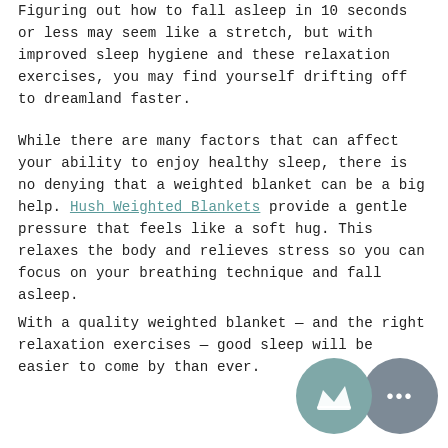Figuring out how to fall asleep in 10 seconds or less may seem like a stretch, but with improved sleep hygiene and these relaxation exercises, you may find yourself drifting off to dreamland faster.
While there are many factors that can affect your ability to enjoy healthy sleep, there is no denying that a weighted blanket can be a big help. Hush Weighted Blankets provide a gentle pressure that feels like a soft hug. This relaxes the body and relieves stress so you can focus on your breathing technique and fall asleep.
With a quality weighted blanket — and the right relaxation exercises — good sleep will be easier to come by than ever.
[Figure (illustration): Two circular chat/notification bubbles in muted teal and grey colors. The left bubble contains a crown icon and the right bubble contains three dots (ellipsis).]